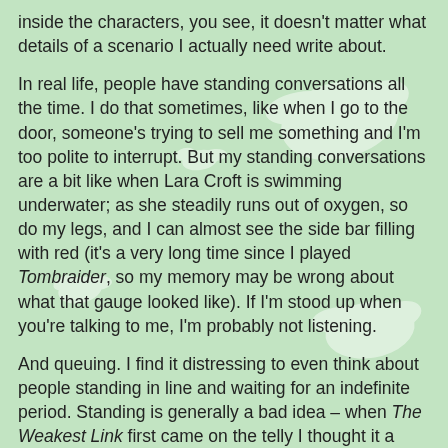inside the characters, you see, it doesn't matter what details of a scenario I actually need write about.
In real life, people have standing conversations all the time. I do that sometimes, like when I go to the door, someone's trying to sell me something and I'm too polite to interrupt. But my standing conversations are a bit like when Lara Croft is swimming underwater; as she steadily runs out of oxygen, so do my legs, and I can almost see the side bar filling with red (it's a very long time since I played Tombraider, so my memory may be wrong about what that gauge looked like). If I'm stood up when you're talking to me, I'm probably not listening.
And queuing. I find it distressing to even think about people standing in line and waiting for an indefinite period. Standing is generally a bad idea – when The Weakest Link first came on the telly I thought it a horrible quiz simply because everyone had to stand up – what a relief it must be if you were voted out.! Human beings evolved to walk on their hind legs, but I reckon we're simply not built for standing still. Personally, I wasn't even particularly good at standing still